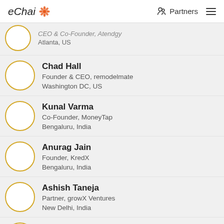eChai | Partners
CEO & Co-Founder, Atendgy | Atlanta, US (partial)
Chad Hall | Founder & CEO, remodelmate | Washington DC, US
Kunal Varma | Co-Founder, MoneyTap | Bengaluru, India
Anurag Jain | Founder, KredX | Bengaluru, India
Ashish Taneja | Partner, growX Ventures | New Delhi, India
Ashlee Ammons | President, Mixtroz | Birmingham, Alabama, US
(partial bottom entry)